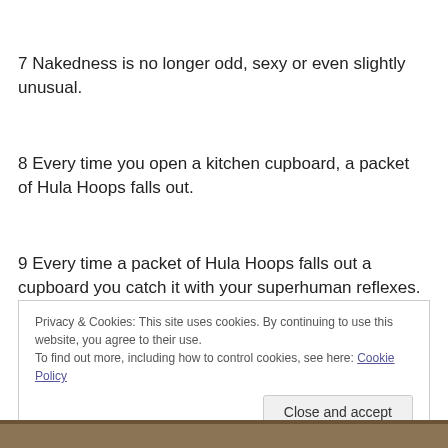7 Nakedness is no longer odd, sexy or even slightly unusual.
8 Every time you open a kitchen cupboard, a packet of Hula Hoops falls out.
9 Every time a packet of Hula Hoops falls out a cupboard you catch it with your superhuman reflexes.
Privacy & Cookies: This site uses cookies. By continuing to use this website, you agree to their use.
To find out more, including how to control cookies, see here: Cookie Policy
[Figure (photo): Partial view of a brown wooden surface or book spine at the bottom of the page]